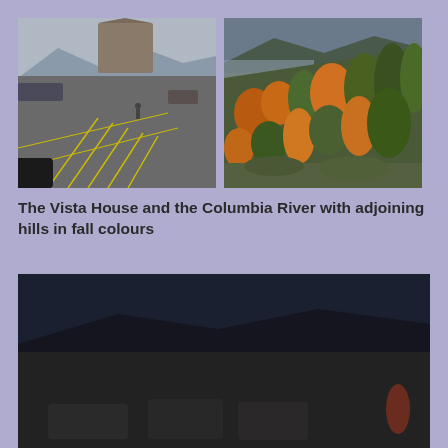[Figure (photo): Photo of Vista House parking lot with building in background]
[Figure (photo): Photo of Columbia River hillside with trees in fall autumn colours]
The Vista House and the Columbia River with adjoining hills in fall colours
[Figure (other): Video player showing error: The media could not be loaded, either because the server or network failed or because the format is not supported. Shows X dismiss button overlaid on dark scene.]